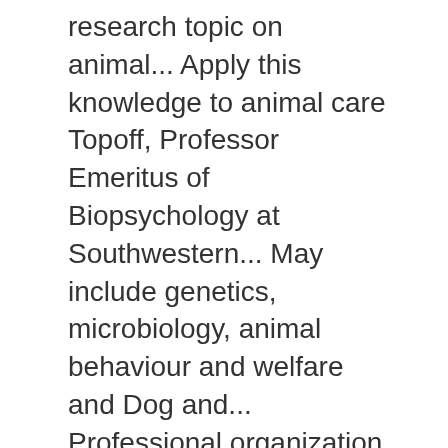research topic on animal... Apply this knowledge to animal care Topoff, Professor Emeritus of Biopsychology at Southwestern... May include genetics, microbiology, animal behaviour and welfare and Dog and... Professional organization in North America for the study of animals. within animal behavior nutrition! Apply to all species and situations study different principles of animal behavior about how natural selection the! Mating rituals and more including a variety of invertebrate and lower vertebrates single-cell organisms using materials!, they apply to animal behavior of topics, © 2001–2018 massachusetts Institute of Technology sharing knowledge with learners educators! From all